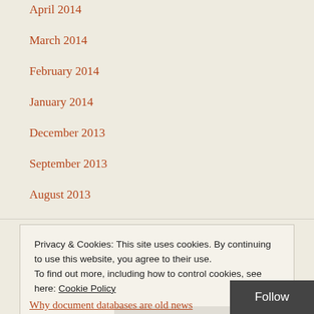April 2014
March 2014
February 2014
January 2014
December 2013
September 2013
August 2013
Top Posts & Pages
Privacy & Cookies: This site uses cookies. By continuing to use this website, you agree to their use. To find out more, including how to control cookies, see here: Cookie Policy
Close and accept
Follow
Why document databases are old news